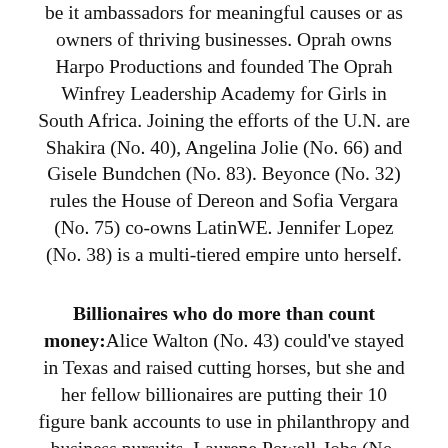be it ambassadors for meaningful causes or as owners of thriving businesses. Oprah owns Harpo Productions and founded The Oprah Winfrey Leadership Academy for Girls in South Africa. Joining the efforts of the U.N. are Shakira (No. 40), Angelina Jolie (No. 66) and Gisele Bundchen (No. 83). Beyonce (No. 32) rules the House of Dereon and Sofia Vergara (No. 75) co-owns LatinWE. Jennifer Lopez (No. 38) is a multi-tiered empire unto herself.
Billionaires who do more than count money: Alice Walton (No. 43) could've stayed in Texas and raised cutting horses, but she and her fellow billionaires are putting their 10 figure bank accounts to use in philanthropy and business pursuits. Laurene Powell-Jobs (No. 49), first-timer on the Power Women list, is the